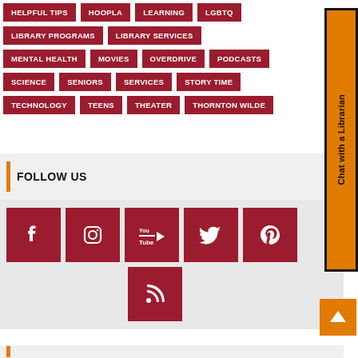HELPFUL TIPS
HOOPLA
LEARNING
LGBTQ
LIBRARY PROGRAMS
LIBRARY SERVICES
MENTAL HEALTH
MOVIES
OVERDRIVE
PODCASTS
SCIENCE
SENIORS
SERVICES
STORY TIME
TECHNOLOGY
TEENS
THEATER
THORNTON WILDE
FOLLOW US
[Figure (infographic): Social media icons: Facebook, Instagram, YouTube, Twitter, Pinterest, RSS feed on dark red square backgrounds]
Chat with a Librarian